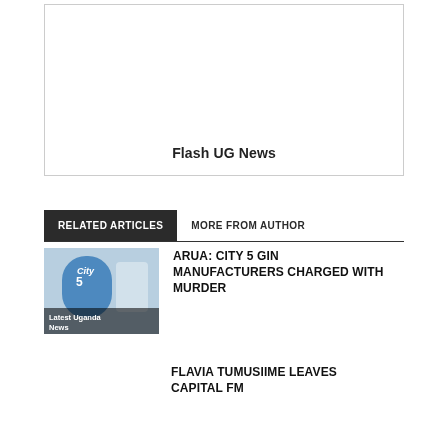[Figure (other): Advertisement box with text 'Flash UG News' inside a bordered rectangle]
RELATED ARTICLES
MORE FROM AUTHOR
[Figure (photo): Thumbnail image of City 5 Gin bottle with label 'Latest Uganda News']
ARUA: CITY 5 GIN MANUFACTURERS CHARGED WITH MURDER
FLAVIA TUMUSIIME LEAVES CAPITAL FM